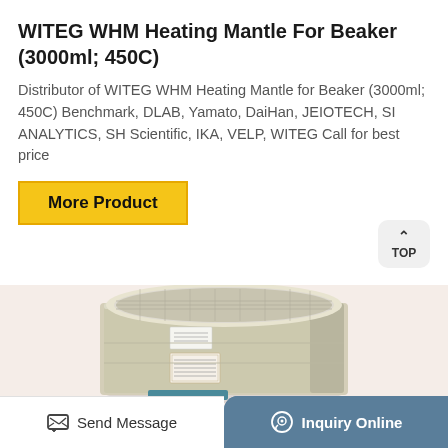WITEG WHM Heating Mantle For Beaker (3000ml; 450C)
Distributor of WITEG WHM Heating Mantle for Beaker (3000ml; 450C) Benchmark, DLAB, Yamato, DaiHan, JEIOTECH, SI ANALYTICS, SH Scientific, IKA, VELP, WITEG Call for best price
[Figure (other): Yellow button labeled More Product with border]
[Figure (photo): Photo of WITEG WHM Heating Mantle for beaker, cylindrical device in beige/gray color with woven heating element visible at top, small label sticker on side, blue base visible at bottom]
Send Message
Inquiry Online